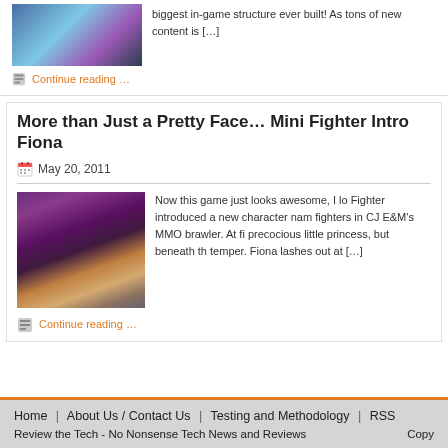[Figure (photo): Game screenshot showing colorful in-game scene with characters and structures]
biggest in-game structure ever built! As tons of new content is […]
Continue reading …
More than Just a Pretty Face… Mini Fighter Intro Fiona
May 20, 2011
[Figure (photo): Character art showing Fiona from Mini Fighter MMO brawler game, a character with colorful costume on purple background]
Now this game just looks awesome, I lo Fighter introduced a new character nam fighters in CJ E&M's MMO brawler. At fi precocious little princess, but beneath th temper. Fiona lashes out at […]
Continue reading …
Home | About Us / Contact Us | Testing and Methodology | RSS
Review the Tech - No Nonsense Tech News and Reviews  Copy